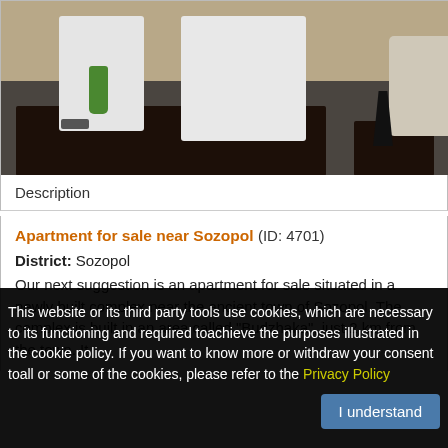[Figure (photo): Interior photo of a modern apartment showing a dark wooden dining table, white chairs, green glass, dark tiled floor, and light-colored couch/chair in background]
Description
Apartment for sale near Sozopol (ID: 4701)
District: Sozopol
Our next suggestion is an apartment for sale situated in a newly built complex near the ancient town of Sozopol. The complex is built in an area called "Budzhaka", just 2 km from the town. It
This website or its third party tools use cookies, which are necessary to its functioning and required toachieve the purposes illustrated in the cookie policy. If you want to know more or withdraw your consent toall or some of the cookies, please refer to the Privacy Policy